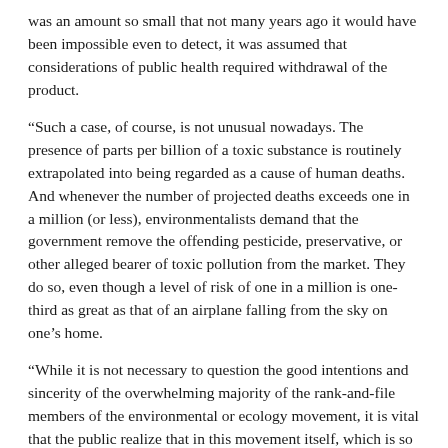was an amount so small that not many years ago it would have been impossible even to detect, it was assumed that considerations of public health required withdrawal of the product.
“Such a case, of course, is not unusual nowadays. The presence of parts per billion of a toxic substance is routinely extrapolated into being regarded as a cause of human deaths. And whenever the number of projected deaths exceeds one in a million (or less), environmentalists demand that the government remove the offending pesticide, preservative, or other alleged bearer of toxic pollution from the market. They do so, even though a level of risk of one in a million is one-third as great as that of an airplane falling from the sky on one’s home.
“While it is not necessary to question the good intentions and sincerity of the overwhelming majority of the rank-and-file members of the environmental or ecology movement, it is vital that the public realize that in this movement itself, which is so widely regarded as noble and lofty, can be found more than a little evidence of the most profound toxicity—evidence provided by leaders of the movement themselves, and in the clearest possible terms. Consider, for example, the following quotation from David